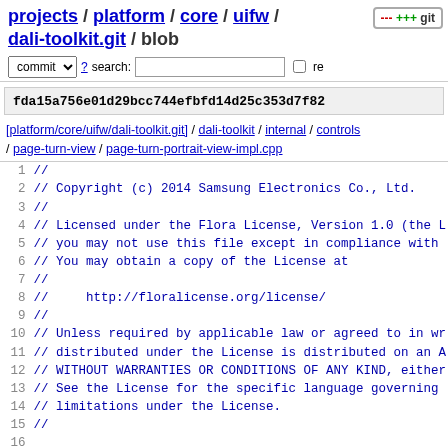projects / platform / core / uifw / dali-toolkit.git / blob
fda15a756e01d29bcc744efbfd14d25c353d7f82
[platform/core/uifw/dali-toolkit.git] / dali-toolkit / internal / controls / page-turn-view / page-turn-portrait-view-impl.cpp
1 //
2 // Copyright (c) 2014 Samsung Electronics Co., Ltd.
3 //
4 // Licensed under the Flora License, Version 1.0 (the L
5 // you may not use this file except in compliance with
6 // You may obtain a copy of the License at
7 //
8 //     http://floralicense.org/license/
9 //
10 // Unless required by applicable law or agreed to in wr
11 // distributed under the License is distributed on an A
12 // WITHOUT WARRANTIES OR CONDITIONS OF ANY KIND, either
13 // See the License for the specific language governing
14 // limitations under the License.
15 //
16
17 //CLASS HEADER
18 #include <dali-toolkit/internal/controls/page-turn-view
19